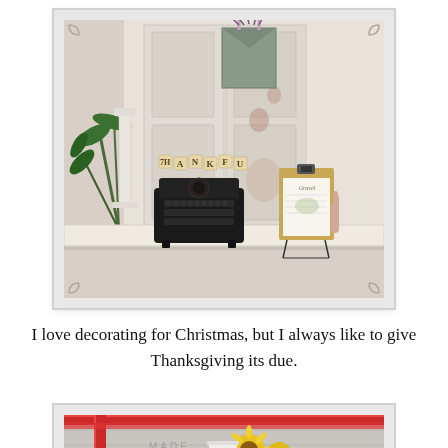[Figure (photo): Vintage/shabby chic interior vignette with distressed white paneled door background, a metal hanging planter with purple flowers, a vintage black typewriter with wooden letter tiles spelling 'THANKFUL', a tall white candlestick, green foliage, and a clipboard with paper on a decorative stand, all arranged on a cream-colored shelf.]
I love decorating for Christmas, but I always like to give Thanksgiving its due.
[Figure (photo): Partial view of a holiday scene with red ribbon/trim, yellow sunflowers, and a gray/white wooden background.]